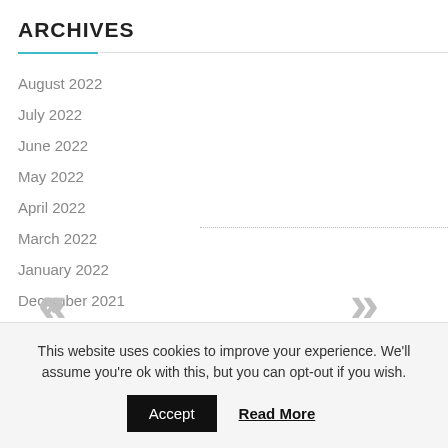ARCHIVES
August 2022
July 2022
June 2022
May 2022
April 2022
March 2022
January 2022
December 2021
November 2021
October 2021
September 2021
This website uses cookies to improve your experience. We'll assume you're ok with this, but you can opt-out if you wish.
Accept
Read More